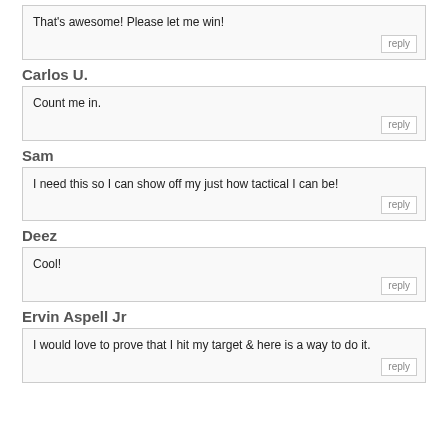That's awesome! Please let me win!
Carlos U.
Count me in.
Sam
I need this so I can show off my just how tactical I can be!
Deez
Cool!
Ervin Aspell Jr
I would love to prove that I hit my target & here is a way to do it.